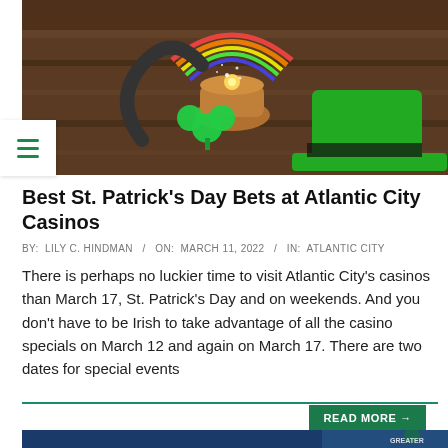[Figure (photo): St. Patrick's Day themed image with green glitter top hat, shamrock, horseshoe, and pot of gold with rainbow on wooden background]
Best St. Patrick's Day Bets at Atlantic City Casinos
BY: LILY C. HINDMAN / ON: MARCH 11, 2022 / IN: ATLANTIC CITY
There is perhaps no luckier time to visit Atlantic City's casinos than March 17, St. Patrick's Day and on weekends. And you don't have to be Irish to take advantage of all the casino specials on March 12 and again on March 17. There are two dates for special events
[Figure (photo): Partial bottom image with blue background and Greater logo visible]